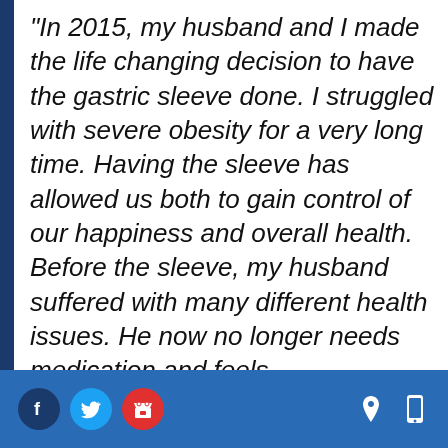“In 2015, my husband and I made the life changing decision to have the gastric sleeve done. I struggled with severe obesity for a very long time. Having the sleeve has allowed us both to gain control of our happiness and overall health. Before the sleeve, my husband suffered with many different health issues. He now no longer needs medication and feels
[Figure (other): Footer bar with social media icons (Facebook, Twitter, store/shop) on the left and location pin and mobile phone icons on the right, on a blue background]